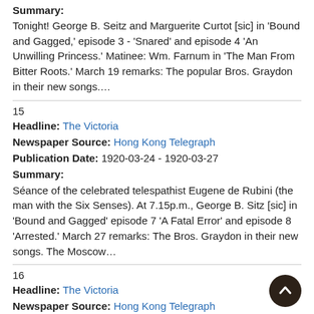Summary: Tonight! George B. Seitz and Marguerite Curtot [sic] in 'Bound and Gagged,' episode 3 - 'Snared' and episode 4 'An Unwilling Princess.' Matinee: Wm. Farnum in 'The Man From Bitter Roots.' March 19 remarks: The popular Bros. Graydon in their new songs....
15
Headline: The Victoria
Newspaper Source: Hong Kong Telegraph
Publication Date: 1920-03-24 - 1920-03-27
Summary: Séance of the celebrated telespathist Eugene de Rubini (the man with the Six Senses). At 7.15p.m., George B. Sitz [sic] in 'Bound and Gagged' episode 7 'A Fatal Error' and episode 8 'Arrested.' March 27 remarks: The Bros. Graydon in their new songs. The Moscow…
16
Headline: The Victoria
Newspaper Source: Hong Kong Telegraph